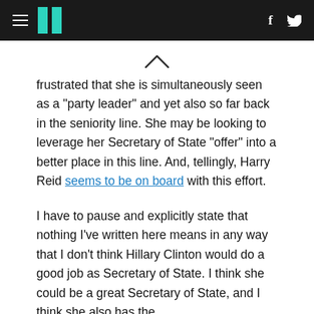HuffPost navigation with hamburger menu, logo, Facebook and Twitter icons
[Figure (other): Chevron/caret up symbol used as scroll/collapse indicator]
frustrated that she is simultaneously seen as a "party leader" and yet also so far back in the seniority line. She may be looking to leverage her Secretary of State "offer" into a better place in this line. And, tellingly, Harry Reid seems to be on board with this effort.
I have to pause and explicitly state that nothing I've written here means in any way that I don't think Hillary Clinton would do a good job as Secretary of State. I think she could be a great Secretary of State, and I think she also has the